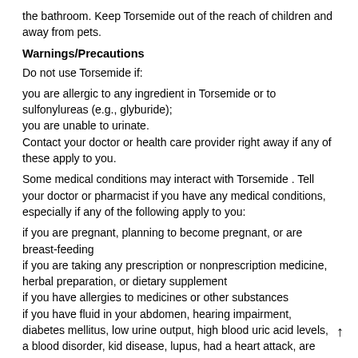the bathroom. Keep Torsemide out of the reach of children and away from pets.
Warnings/Precautions
Do not use Torsemide if:
you are allergic to any ingredient in Torsemide or to sulfonylureas (e.g., glyburide);
you are unable to urinate.
Contact your doctor or health care provider right away if any of these apply to you.
Some medical conditions may interact with Torsemide . Tell your doctor or pharmacist if you have any medical conditions, especially if any of the following apply to you:
if you are pregnant, planning to become pregnant, or are breast-feeding
if you are taking any prescription or nonprescription medicine, herbal preparation, or dietary supplement
if you have allergies to medicines or other substances
if you have fluid in your abdomen, hearing impairment, diabetes mellitus, low urine output, high blood uric acid levels, a blood disorder, kid disease, lupus, had a heart attack, are dehydrated, or have liver heart failure